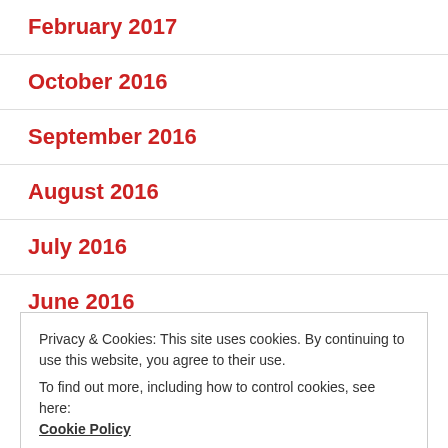February 2017
October 2016
September 2016
August 2016
July 2016
June 2016
Privacy & Cookies: This site uses cookies. By continuing to use this website, you agree to their use.
To find out more, including how to control cookies, see here:
Cookie Policy
Close and accept